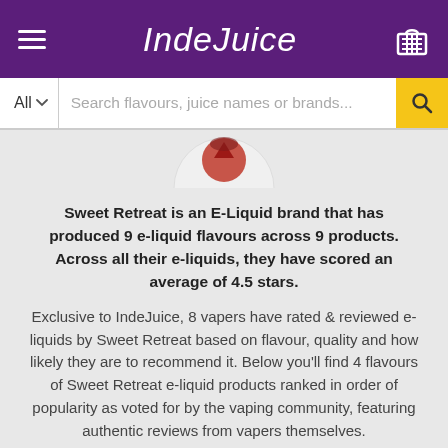IndeJuice
[Figure (screenshot): IndeJuice website header with hamburger menu, logo, and shopping cart icon, plus a search bar with 'All' dropdown and search field 'Search flavours, juice names or brands...' with a yellow search button]
[Figure (photo): Partial product image of Sweet Retreat e-liquid brand logo/bottle, showing top portion cropped]
Sweet Retreat is an E-Liquid brand that has produced 9 e-liquid flavours across 9 products. Across all their e-liquids, they have scored an average of 4.5 stars.
Exclusive to IndeJuice, 8 vapers have rated & reviewed e-liquids by Sweet Retreat based on flavour, quality and how likely they are to recommend it. Below you'll find 4 flavours of Sweet Retreat e-liquid products ranked in order of popularity as voted for by the vaping community, featuring authentic reviews from vapers themselves.